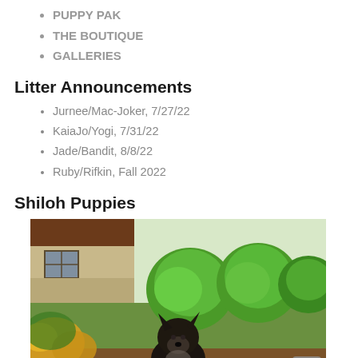PUPPY PAK
THE BOUTIQUE
GALLERIES
Litter Announcements
Jurnee/Mac-Joker, 7/27/22
KaiaJo/Yogi, 7/31/22
Jade/Bandit, 8/8/22
Ruby/Rifkin, Fall 2022
Shiloh Puppies
[Figure (photo): A dark-colored Shiloh Shepherd puppy sitting in a garden with round green shrubs, yellow flowers, and a house in the background.]